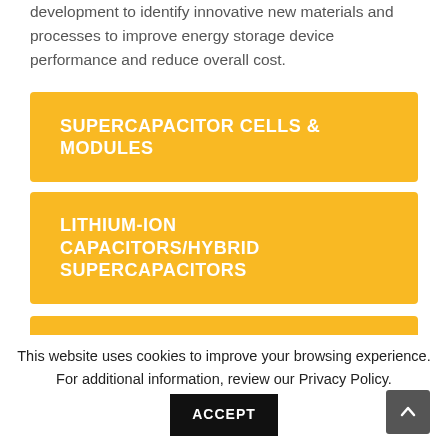development to identify innovative new materials and processes to improve energy storage device performance and reduce overall cost.
SUPERCAPACITOR CELLS & MODULES
LITHIUM-ION CAPACITORS/HYBRID SUPERCAPACITORS
WIND RETROFIT SOLUTION
This website uses cookies to improve your browsing experience. For additional information, review our Privacy Policy.
ACCEPT